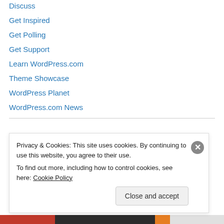Discuss
Get Inspired
Get Polling
Get Support
Learn WordPress.com
Theme Showcase
WordPress Planet
WordPress.com News
[Figure (logo): Black badge with 'Proud member of' text and star decorations]
Privacy & Cookies: This site uses cookies. By continuing to use this website, you agree to their use.
To find out more, including how to control cookies, see here: Cookie Policy
Close and accept